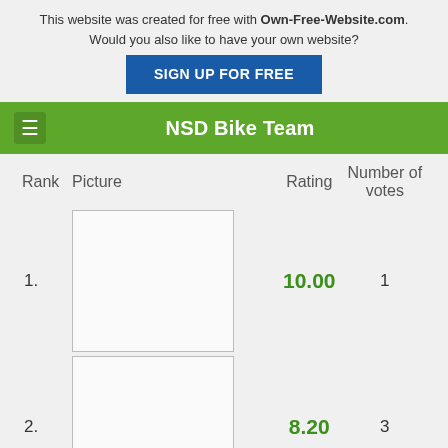This website was created for free with Own-Free-Website.com. Would you also like to have your own website? SIGN UP FOR FREE
NSD Bike Team
| Rank | Picture |  | Rating | Number of votes |
| --- | --- | --- | --- | --- |
| 1. | [image] |  | 10.00 | 1 |
| 2. | [image] |  | 8.20 | 3 |